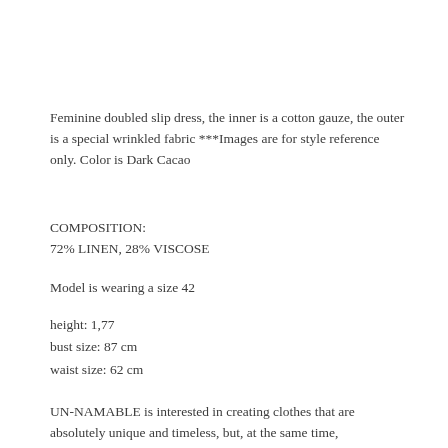Feminine doubled slip dress, the inner is a cotton gauze, the outer is a special wrinkled fabric ***Images are for style reference only. Color is Dark Cacao
COMPOSITION:
72% LINEN, 28% VISCOSE
Model is wearing a size 42
height: 1,77
bust size: 87 cm
waist size: 62 cm
UN-NAMABLE is interested in creating clothes that are absolutely unique and timeless, but, at the same time, experimental and